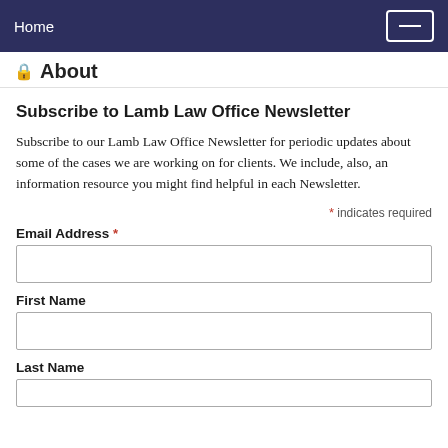Home
About
Subscribe to Lamb Law Office Newsletter
Subscribe to our Lamb Law Office Newsletter for periodic updates about some of the cases we are working on for clients. We include, also, an information resource you might find helpful in each Newsletter.
* indicates required
Email Address *
First Name
Last Name